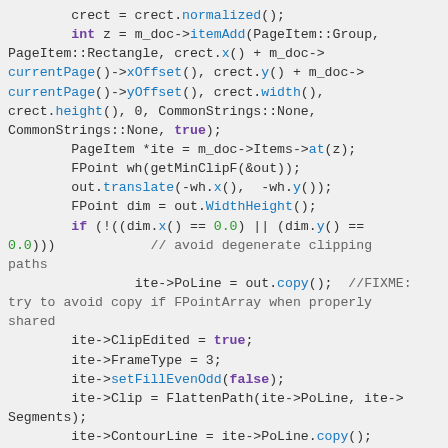[Figure (screenshot): Source code screenshot showing C++ code for creating a page item group with clipping path setup, including calls to itemAdd, translate, WidthHeight, PoLine copy, ClipEdited, FrameType, setFillEvenOdd, FlattenPath, ContourLine, setTextFlowMode, AdjustItemSize, and m_Elements append.]